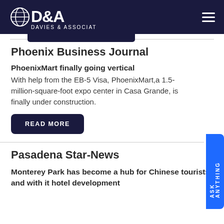Davies & Associates
Phoenix Business Journal
PhoenixMart finally going vertical
With help from the EB-5 Visa, PhoenixMart,a 1.5-million-square-foot expo center in Casa Grande, is finally under construction.
READ MORE
Pasadena Star-News
Monterey Park has become a hub for Chinese tourists, and with it hotel development